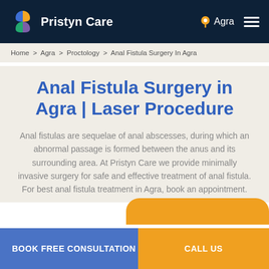Pristyn Care — Agra
Home > Agra > Proctology > Anal Fistula Surgery In Agra
Anal Fistula Surgery in Agra | Laser Procedure
Anal fistulas are sequelae of anal abscesses, during which an abnormal passage is formed between the anus and its surrounding area. At Pristyn Care we provide minimally invasive surgery for safe and effective treatment of anal fistula. For best anal fistula treatment in Agra, book an appointment.
BOOK FREE CONSULTATION
CALL US